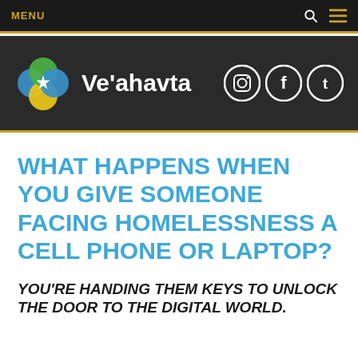MENU
[Figure (logo): Ve'ahavta organization logo with colorful flower-like emblem and text 'Ve'ahavta', plus Instagram, Facebook, Twitter social icons]
WHAT HAPPENS WHEN YOU GIVE SOMEONE FACING HOMELESSNESS A CELL PHONE OR LAPTOP?
YOU'RE HANDING THEM KEYS TO UNLOCK THE DOOR TO THE DIGITAL WORLD.